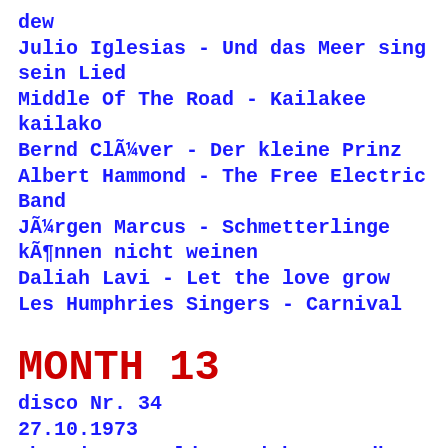dew
Julio Iglesias - Und das Meer sing sein Lied
Middle Of The Road - Kailakee kailako
Bernd ClÃ¼ver - Der kleine Prinz
Albert Hammond - The Free Electric Band
JÃ¼rgen Marcus - Schmetterlinge kÃ¶nnen nicht weinen
Daliah Lavi - Let the love grow
Les Humphries Singers - Carnival
MONTH 13
disco Nr. 34
27.10.1973
Cherrie Vangelder-Smith - Goodbye